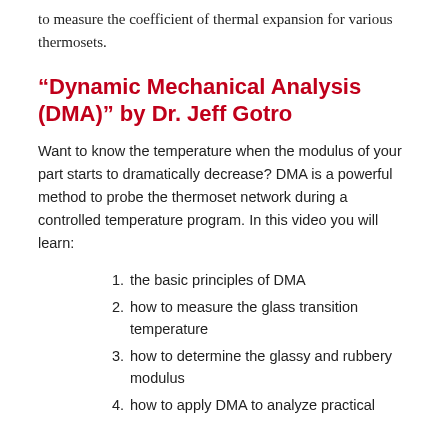to measure the coefficient of thermal expansion for various thermosets.
“Dynamic Mechanical Analysis (DMA)” by Dr. Jeff Gotro
Want to know the temperature when the modulus of your part starts to dramatically decrease? DMA is a powerful method to probe the thermoset network during a controlled temperature program. In this video you will learn:
the basic principles of DMA
how to measure the glass transition temperature
how to determine the glassy and rubbery modulus
how to apply DMA to analyze practical